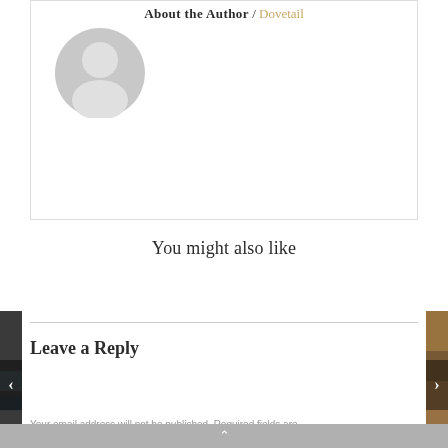About the Author / Dovetail
[Figure (illustration): Default user avatar — circular grey silhouette of a person on a lighter grey background]
You might also like
[Figure (photo): Left edge thumbnail strip showing a dark landscape/water scene with a left navigation arrow]
[Figure (photo): Right edge thumbnail strip showing a warm-toned textured scene with a right navigation arrow]
Leave a Reply
Your email address will not be published. Required fields are